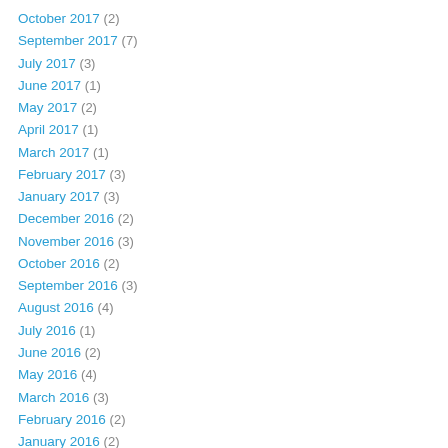October 2017 (2)
September 2017 (7)
July 2017 (3)
June 2017 (1)
May 2017 (2)
April 2017 (1)
March 2017 (1)
February 2017 (3)
January 2017 (3)
December 2016 (2)
November 2016 (3)
October 2016 (2)
September 2016 (3)
August 2016 (4)
July 2016 (1)
June 2016 (2)
May 2016 (4)
March 2016 (3)
February 2016 (2)
January 2016 (2)